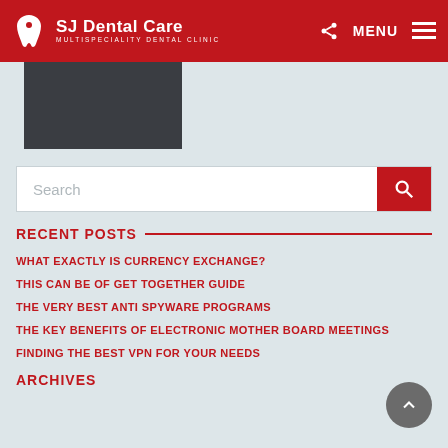SJ Dental Care — MULTISPECIALITY DENTAL CLINIC
[Figure (screenshot): Partial view of a dark smartphone device cropped at top]
Search
RECENT POSTS
WHAT EXACTLY IS CURRENCY EXCHANGE?
THIS CAN BE OF GET TOGETHER GUIDE
THE VERY BEST ANTI SPYWARE PROGRAMS
THE KEY BENEFITS OF ELECTRONIC MOTHER BOARD MEETINGS
FINDING THE BEST VPN FOR YOUR NEEDS
ARCHIVES